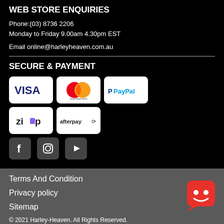WEB STORE ENQUIRIES
Phone:(03) 8736 2206
Monday to Friday 9.00am 4.30pm EST
Email online@harleyheaven.com.au
SECURE & PAYMENT
[Figure (logo): Payment method logos: VISA, Mastercard, PayPal, Zip, Afterpay]
[Figure (logo): Social media icons: Facebook, Instagram, YouTube]
Terms And Condition
Privacy policy
Sitemap
© 2021 Harley-Heaven. All Rights Reserved.